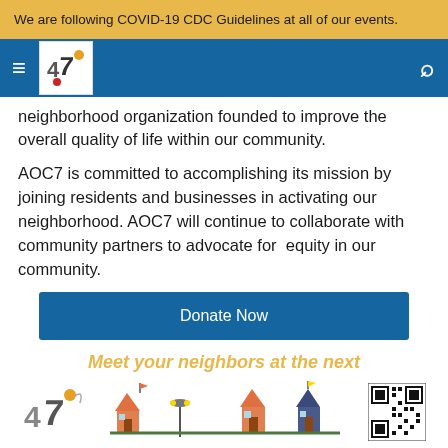We are following COVID-19 CDC Guidelines at all of our events.
[Figure (logo): AOC7 organization logo with stylized number/letter mark and colored dots, in white box on blue navigation bar]
neighborhood organization founded to improve the overall quality of life within our community.
AOC7 is committed to accomplishing its mission by joining residents and businesses in activating our neighborhood. AOC7 will continue to collaborate with community partners to advocate for equity in our community.
Donate Now
Meet your neighbors at the next
[Figure (illustration): Bottom section showing AOC7 logo, colorful illustrated neighborhood houses with flags and streetlamps, and a QR code]